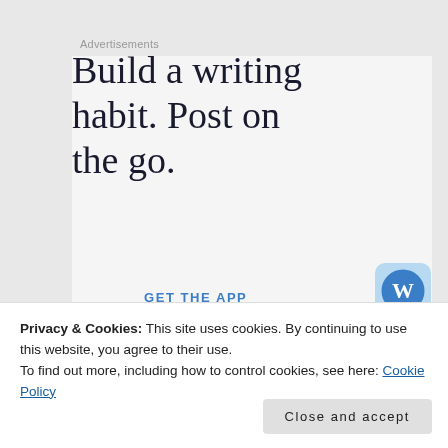Advertisements
Build a writing habit. Post on the go.
GET THE APP
Privacy & Cookies: This site uses cookies. By continuing to use this website, you agree to their use.
To find out more, including how to control cookies, see here: Cookie Policy
Close and accept